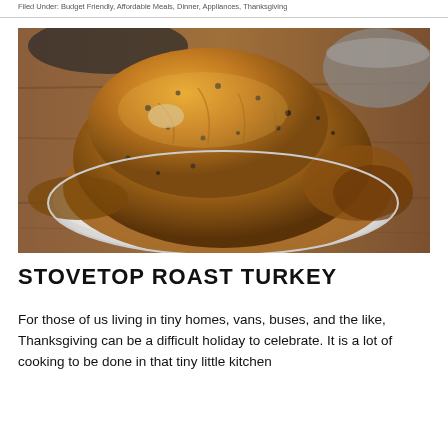Filed Under: Budget Friendly, Affordable Meals, Dinner, Appliances, Thanksgiving
[Figure (photo): A roasted turkey on a white plate, golden-brown skin with herbs, on a wooden surface with metal bowls in background]
STOVETOP ROAST TURKEY
For those of us living in tiny homes, vans, buses, and the like, Thanksgiving can be a difficult holiday to celebrate. It is a lot of cooking to be done in that tiny little kitchen